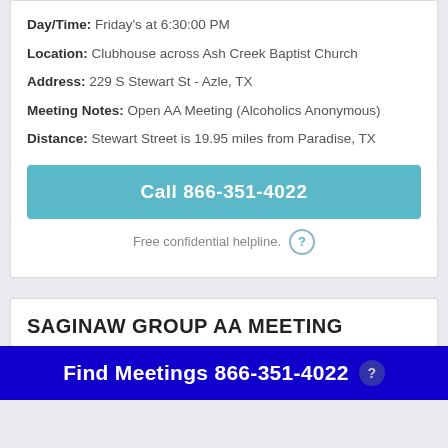Day/Time: Friday's at 6:30:00 PM
Location: Clubhouse across Ash Creek Baptist Church
Address: 229 S Stewart St - Azle, TX
Meeting Notes: Open AA Meeting (Alcoholics Anonymous)
Distance: Stewart Street is 19.95 miles from Paradise, TX
Call 866-351-4022
Free confidential helpline.
SAGINAW GROUP AA MEETING
Find Meetings 866-351-4022